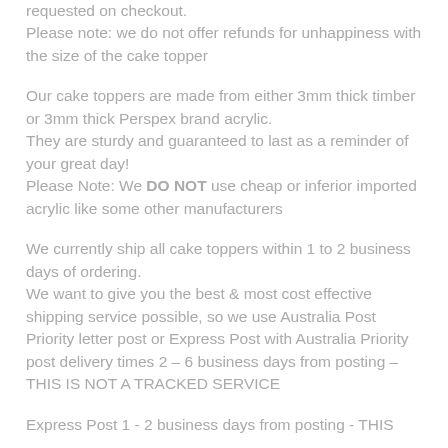requested on checkout.
Please note: we do not offer refunds for unhappiness with the size of the cake topper
Our cake toppers are made from either 3mm thick timber or 3mm thick Perspex brand acrylic.
They are sturdy and guaranteed to last as a reminder of your great day!
Please Note: We DO NOT use cheap or inferior imported acrylic like some other manufacturers
We currently ship all cake toppers within 1 to 2 business days of ordering.
We want to give you the best & most cost effective shipping service possible, so we use Australia Post Priority letter post or Express Post with Australia Priority post delivery times 2 – 6 business days from posting – THIS IS NOT A TRACKED SERVICE
Express Post 1 - 2 business days from posting - THIS